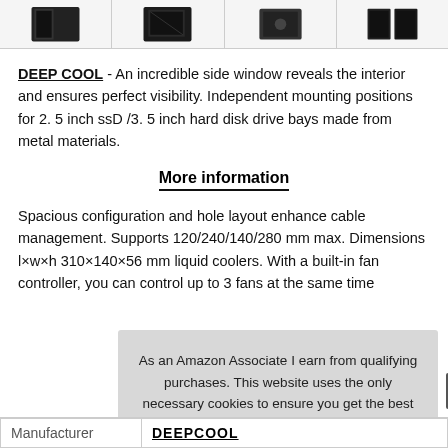[Figure (photo): Row of four product thumbnail images of a PC case (DEEPCOOL) shown from different angles.]
DEEP COOL - An incredible side window reveals the interior and ensures perfect visibility. Independent mounting positions for 2. 5 inch ssD /3. 5 inch hard disk drive bays made from metal materials.
More information
Spacious configuration and hole layout enhance cable management. Supports 120/240/140/280 mm max. Dimensions l×w×h 310×140×56 mm liquid coolers. With a built-in fan controller, you can control up to 3 fans at the same time
As an Amazon Associate I earn from qualifying purchases. This website uses the only necessary cookies to ensure you get the best experience on our website. More information
| Manufacturer |  |
| --- | --- |
| Manufacturer | DEEPCOOL |